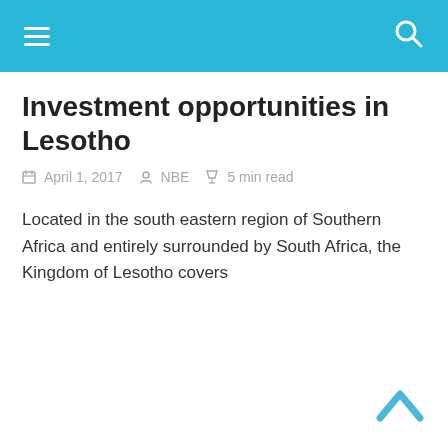Investment opportunities in Lesotho
April 1, 2017  NBE  5 min read
Located in the south eastern region of Southern Africa and entirely surrounded by South Africa, the Kingdom of Lesotho covers